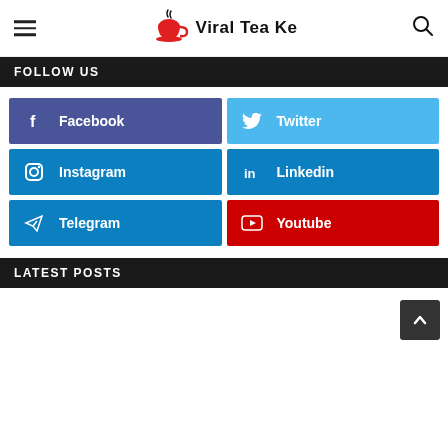Viral Tea Ke
FOLLOW US
Facebook
Twitter
Instagram
Linkedin
Telegram
Youtube
LATEST POSTS